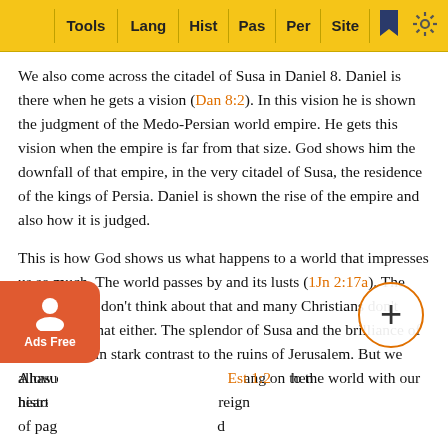Tools | Lang | Hist | Pas | Per | Site
We also come across the citadel of Susa in Daniel 8. Daniel is there when he gets a vision (Dan 8:2). In this vision he is shown the judgment of the Medo-Persian world empire. He gets this vision when the empire is far from that size. God shows him the downfall of that empire, in the very citadel of Susa, the residence of the kings of Persia. Daniel is shown the rise of the empire and also how it is judged.
This is how God shows us what happens to a world that impresses us so much. The world passes by and its lusts (1Jn 2:17a). The Jews in Susa don't think about that and many Christians don't think about that either. The splendor of Susa and the brilliance of the world is in stark contrast to the ruins of Jerusalem. But we allow ourselves to be deceived w... ang on to the world with our hearts.
Ahasu... (Est 1:2)... hen histo... reign of pag... d